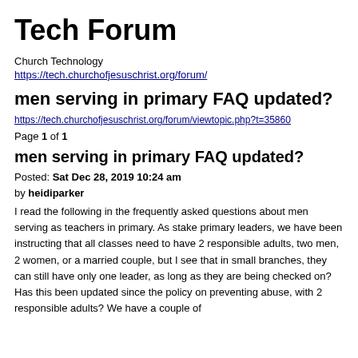Tech Forum
Church Technology
https://tech.churchofjesuschrist.org/forum/
men serving in primary FAQ updated?
https://tech.churchofjesuschrist.org/forum/viewtopic.php?t=35860
Page 1 of 1
men serving in primary FAQ updated?
Posted: Sat Dec 28, 2019 10:24 am
by heidiparker
I read the following in the frequently asked questions about men serving as teachers in primary. As stake primary leaders, we have been instructing that all classes need to have 2 responsible adults, two men, 2 women, or a married couple, but I see that in small branches, they can still have only one leader, as long as they are being checked on? Has this been updated since the policy on preventing abuse, with 2 responsible adults? We have a couple of